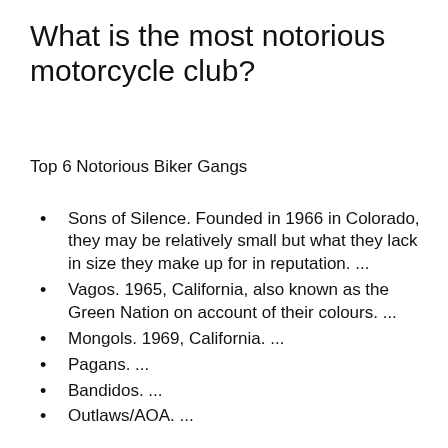What is the most notorious motorcycle club?
Top 6 Notorious Biker Gangs
Sons of Silence. Founded in 1966 in Colorado, they may be relatively small but what they lack in size they make up for in reputation. ...
Vagos. 1965, California, also known as the Green Nation on account of their colours. ...
Mongols. 1969, California. ...
Pagans. ...
Bandidos. ...
Outlaws/AOA. ...